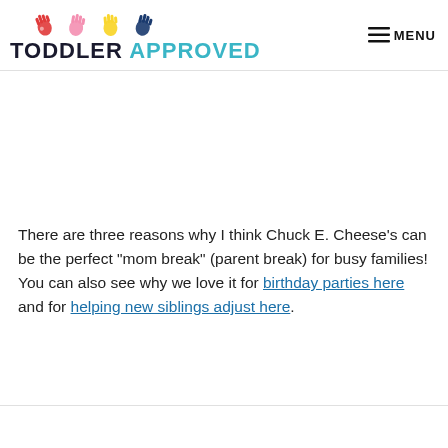TODDLER APPROVED | MENU
There are three reasons why I think Chuck E. Cheese's can be the perfect "mom break" (parent break) for busy families! You can also see why we love it for birthday parties here and for helping new siblings adjust here.